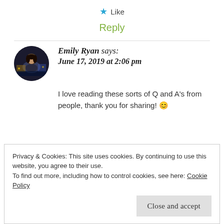★ Like
Reply
[Figure (photo): Circular avatar photo of Emily Ryan showing a woman in front of a night waterfront scene]
Emily Ryan says:
June 17, 2019 at 2:06 pm
I love reading these sorts of Q and A's from people, thank you for sharing! 😊
Privacy & Cookies: This site uses cookies. By continuing to use this website, you agree to their use.
To find out more, including how to control cookies, see here: Cookie Policy
Close and accept